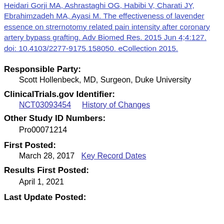Heidari Gorji MA, Ashrastaghi OG, Habibi V, Charati JY, Ebrahimzadeh MA, Ayasi M. The effectiveness of lavender essence on strernotomy related pain intensity after coronary artery bypass grafting. Adv Biomed Res. 2015 Jun 4;4:127. doi: 10.4103/2277-9175.158050. eCollection 2015.
Responsible Party:
Scott Hollenbeck, MD, Surgeon, Duke University
ClinicalTrials.gov Identifier:
NCT03093454    History of Changes
Other Study ID Numbers:
Pro00071214
First Posted:
March 28, 2017    Key Record Dates
Results First Posted:
April 1, 2021
Last Update Posted: